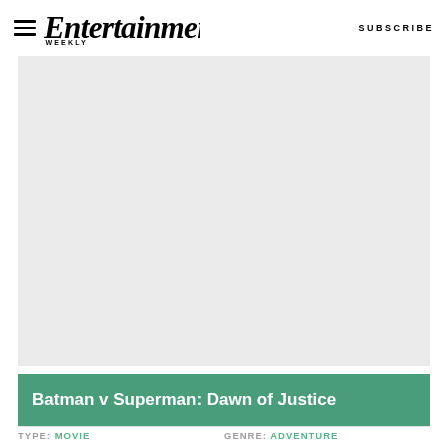Entertainment Weekly — SUBSCRIBE
[Figure (photo): Large light gray placeholder image area for a movie or entertainment photo]
Batman v Superman: Dawn of Justice
TYPE: Movie   GENRE: Adventure